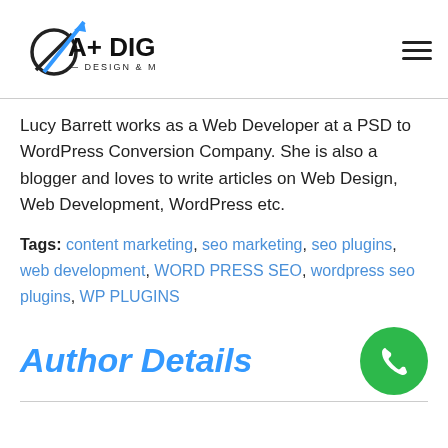A+ Digital Design & Marketing
Lucy Barrett works as a Web Developer at a PSD to WordPress Conversion Company. She is also a blogger and loves to write articles on Web Design, Web Development, WordPress etc.
Tags: content marketing, seo marketing, seo plugins, web development, WORD PRESS SEO, wordpress seo plugins, WP PLUGINS
Author Details